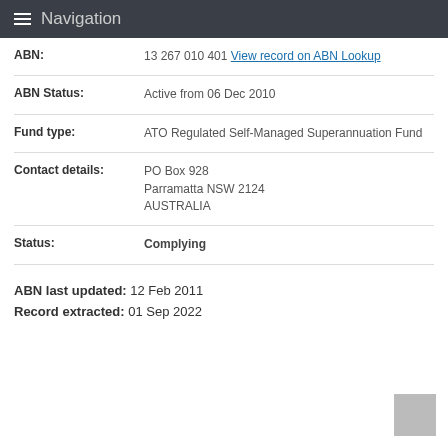Navigation
| Field | Value |
| --- | --- |
| ABN: | 13 267 010 401  View record on ABN Lookup |
| ABN Status: | Active from 06 Dec 2010 |
| Fund type: | ATO Regulated Self-Managed Superannuation Fund |
| Contact details: | PO Box 928
Parramatta NSW 2124
AUSTRALIA |
| Status: | Complying |
ABN last updated: 12 Feb 2011
Record extracted: 01 Sep 2022